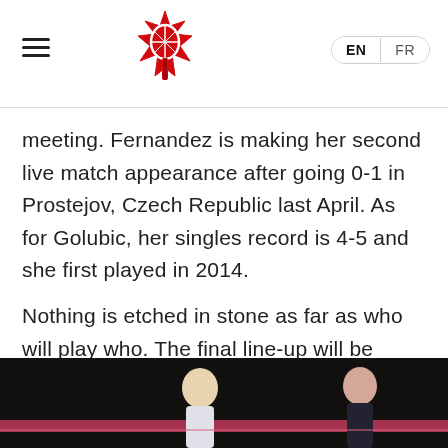Tennis Canada website header with hamburger menu, maple leaf logo, and EN | FR language switcher
meeting. Fernandez is making her second live match appearance after going 0-1 in Prostejov, Czech Republic last April. As for Golubic, her singles record is 4-5 and she first played in 2014.
Nothing is etched in stone as far as who will play who. The final line-up will be determined at the official draw ceremony that will be done at noon on Thursday.
[Figure (photo): Two female tennis players on an indoor court, dark curtain background, one blonde player on the left and one darker-haired player on the right, both in athletic wear with a pink/red horizontal band visible]